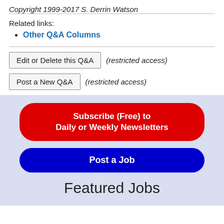Copyright 1999-2017 S. Derrin Watson
Related links:
Other Q&A Columns
Edit or Delete this Q&A (restricted access)
Post a New Q&A (restricted access)
Subscribe (Free) to Daily or Weekly Newsletters
Post a Job
Featured Jobs